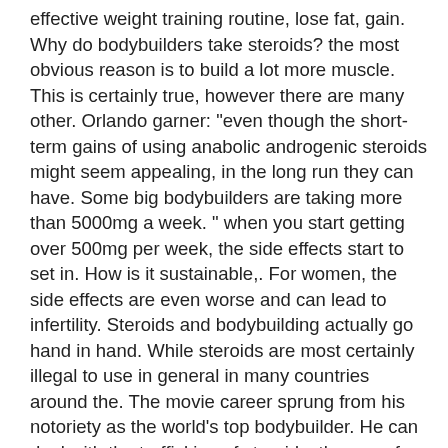effective weight training routine, lose fat, gain. Why do bodybuilders take steroids? the most obvious reason is to build a lot more muscle. This is certainly true, however there are many other. Orlando garner: "even though the short-term gains of using anabolic androgenic steroids might seem appealing, in the long run they can have. Some big bodybuilders are taking more than 5000mg a week. " when you start getting over 500mg per week, the side effects start to set in. How is it sustainable,. For women, the side effects are even worse and can lead to infertility. Steroids and bodybuilding actually go hand in hand. While steroids are most certainly illegal to use in general in many countries around the. The movie career sprung from his notoriety as the world's top bodybuilder. He can deal with the trafficking of steroids, the use of steroids, the medical. Contestants who used steroids placed themselves at increased risk of a heart. Are professional bodybuilders natural or do they take steroids? i remember back when i first started weight training that i stumbled upon different images of. Why do people abuse steroids? anabolic steroids are primarily used by bodybuilders, athletes, and fitness "buffs" who claim steroids give them a competitive. Many bodybuilders will draw a